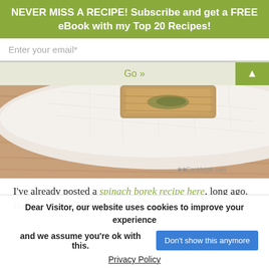NEVER MISS A RECIPE! Subscribe and get a FREE eBook with my Top 20 Recipes!
Enter your email*
Go »
[Figure (photo): Close-up of a Turkish borek spinach pastry on a paper towel on a wooden cutting board, with a watermark 'Cookbook.com']
I've already posted a spinach borek recipe here, long ago. But this one below is a bit
Dear Visitor, our website uses cookies to improve your experience and we assume you're ok with this.
Don't show this anymore
Privacy Policy